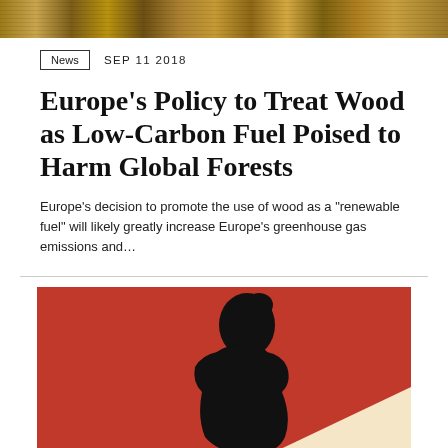[Figure (photo): Top banner image showing a decorative scene with warm golden and brown tones, partially cropped at the top of the page.]
News   SEP 11 2018
Europe's Policy to Treat Wood as Low-Carbon Fuel Poised to Harm Global Forests
Europe's decision to promote the use of wood as a "renewable fuel" will likely greatly increase Europe's greenhouse gas emissions and...
[Figure (photo): A red and cream background with a black silhouette of a person with a bun hairstyle, bowing their head downward.]